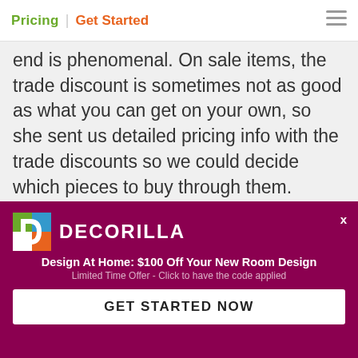Pricing | Get Started
end is phenomenal. On sale items, the trade discount is sometimes not as good as what you can get on your own, so she sent us detailed pricing info with the trade discounts so we could decide which pieces to buy through them. Overall I am thrilled with the design and the process was smooth and very cost effective. For us, the $800 we saved on the West Elm couch paid for
[Figure (logo): Decorilla logo - letter D in green, blue, orange on white square]
DECORILLA
Design At Home: $100 Off Your New Room Design
Limited Time Offer - Click to have the code applied
GET STARTED NOW